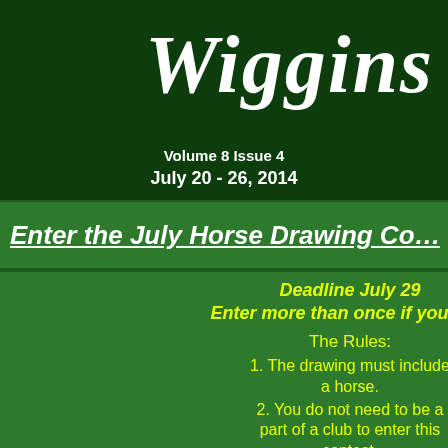Wiggins W...
Volume 8 Issue 4
July 20 - 26, 2014
Enter the July Horse Drawing Co...
Deadline July 29
Enter more than once if you like!
The Rules:
1. The drawing must include a horse.
2. You do not need to be a part of a club to enter this contest.
3. The drawing can be color or black and white.
[Figure (illustration): Child's crayon drawing of a brown horse near a wooden fence with blue sky background]